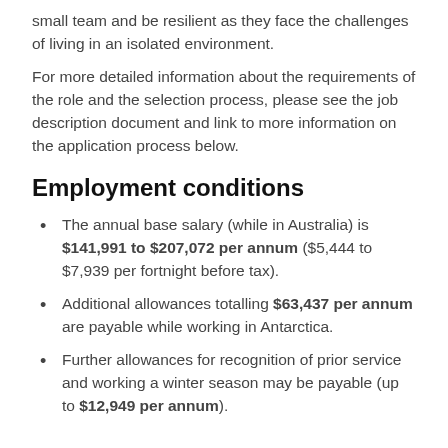small team and be resilient as they face the challenges of living in an isolated environment.
For more detailed information about the requirements of the role and the selection process, please see the job description document and link to more information on the application process below.
Employment conditions
The annual base salary (while in Australia) is $141,991 to $207,072 per annum ($5,444 to $7,939 per fortnight before tax).
Additional allowances totalling $63,437 per annum are payable while working in Antarctica.
Further allowances for recognition of prior service and working a winter season may be payable (up to $12,949 per annum).